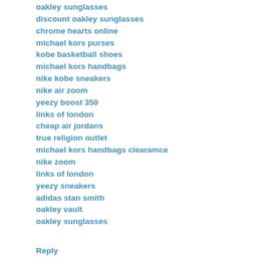oakley sunglasses
discount oakley sunglasses
chrome hearts online
michael kors purses
kobe basketball shoes
michael kors handbags
nike kobe sneakers
nike air zoom
yeezy boost 350
links of london
cheap air jordans
true religion outlet
michael kors handbags clearamce
nike zoom
links of london
yeezy sneakers
adidas stan smith
oakley vault
oakley sunglasses
Reply